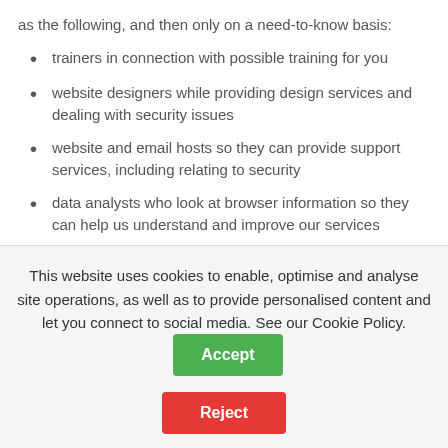as the following, and then only on a need-to-know basis:
trainers in connection with possible training for you
website designers while providing design services and dealing with security issues
website and email hosts so they can provide support services, including relating to security
data analysts who look at browser information so they can help us understand and improve our services
All the above are subject to or have agreed to observe EU regulations on data protection. And all have, or will have agreed before our disclosure to them, to use the
This website uses cookies to enable, optimise and analyse site operations, as well as to provide personalised content and let you connect to social media. See our Cookie Policy.